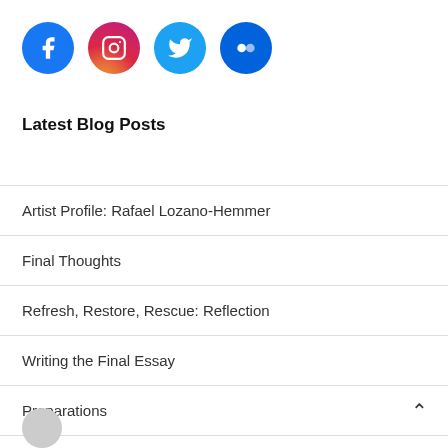[Figure (illustration): Four social media icon circles: Facebook (blue), Instagram (pink/red gradient), Twitter (light blue), Flickr (dark blue)]
Latest Blog Posts
Artist Profile: Rafael Lozano-Hemmer
Final Thoughts
Refresh, Restore, Rescue: Reflection
Writing the Final Essay
Preparations
[Figure (illustration): Partial gray circle icon at bottom left, partially cropped]